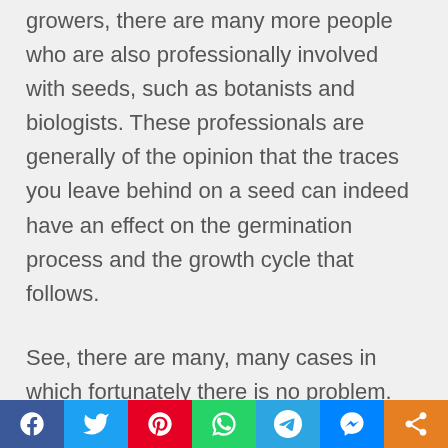growers, there are many more people who are also professionally involved with seeds, such as botanists and biologists. These professionals are generally of the opinion that the traces you leave behind on a seed can indeed have an effect on the germination process and the growth cycle that follows.
See, there are many, many cases in which fortunately there is no problem. These are all situations in which a grower simply takes the seeds out of the bag with his bare hands, lets it germinate,
[Figure (other): Social media sharing bar with buttons for Facebook, Twitter, Pinterest, WhatsApp, Telegram, Messenger, and Share]